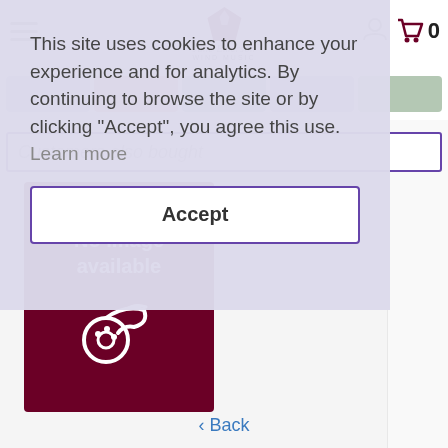[Figure (screenshot): Website header with hamburger menu, wind music shop logo, user icon, and shopping cart showing 0 items]
[Figure (screenshot): Row of colored category filter buttons]
This site uses cookies to enhance your experience and for analytics. By continuing to browse the site or by clicking "Accept", you agree this use.  Learn more
Accept
Customers also bought
[Figure (illustration): Dark red/maroon placeholder image card showing 'No image available' text with a French horn icon in white]
< Back